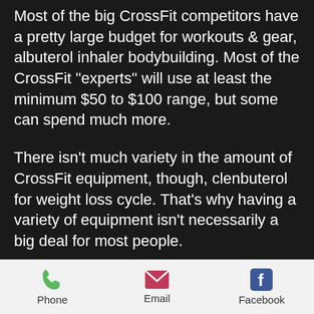Most of the big CrossFit competitors have a pretty large budget for workouts & gear, albuterol inhaler bodybuilding. Most of the CrossFit "experts" will use at least the minimum $50 to $100 range, but some can spend much more.
There isn't much variety in the amount of CrossFit equipment, though, clenbuterol for weight loss cycle. That's why having a variety of equipment isn't necessarily a big deal for most people.
It's also important to realize that "average" CrossFit weights are higher than an average bodybuilder's, peptides bodybuilding cutting. The average CrossFit woman weighs 140 pounds whereas a CrossFit male weights 180 pounds. The average CrossFit male (on
Phone   Email   Facebook